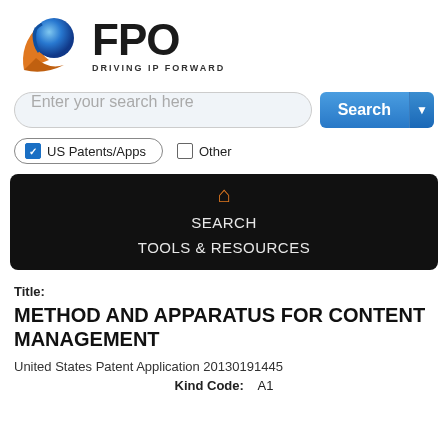[Figure (logo): FPO - Driving IP Forward logo with blue/orange swirl graphic and bold FPO text]
[Figure (screenshot): Search bar with placeholder text 'Enter your search here' and blue Search button with dropdown arrow]
[Figure (screenshot): Checkbox options: checked 'US Patents/Apps' and unchecked 'Other' in a pill-shaped border]
[Figure (screenshot): Black navigation bar with orange home icon, SEARCH and TOOLS & RESOURCES links]
Title:
METHOD AND APPARATUS FOR CONTENT MANAGEMENT
United States Patent Application 20130191445
Kind Code:   A1